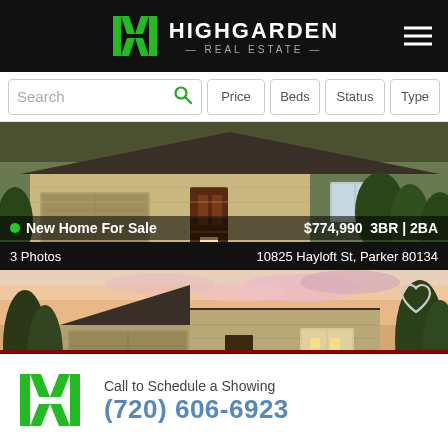HIGHGARDEN REAL ESTATE
Search | Price | Beds | Status | Type
[Figure (photo): Exterior photo of a tan/beige two-car garage home with landscaping, lit entryway at dusk]
New Home For Sale  $774,990  3BR | 2BA
3 Photos  10825 Hayloft St, Parker 80134
[Figure (photo): Exterior rendering of a single-story ranch-style home at sunset with a two-car garage and trees]
Call to Schedule a Showing
(720) 606-6923